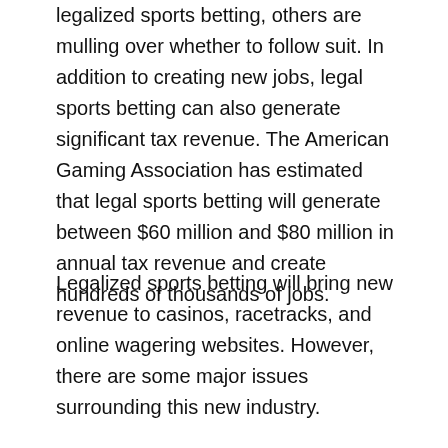legalized sports betting, others are mulling over whether to follow suit. In addition to creating new jobs, legal sports betting can also generate significant tax revenue. The American Gaming Association has estimated that legal sports betting will generate between $60 million and $80 million in annual tax revenue and create hundreds of thousands of jobs.
Legalized sports betting will bring new revenue to casinos, racetracks, and online wagering websites. However, there are some major issues surrounding this new industry.